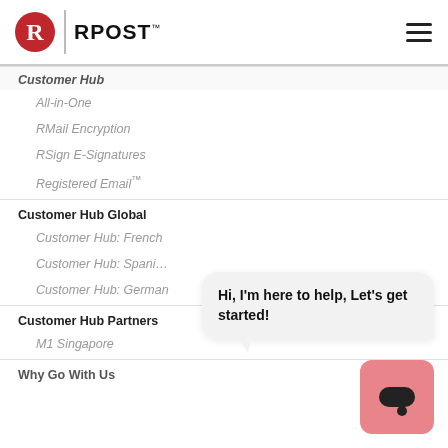RPost
Customer Hub
All-in-One
RMail Encryption
RSign E-Signatures
Registered Email™
Customer Hub Global
Customer Hub: French
Customer Hub: Spani…
Customer Hub: German
Customer Hub Partners
M1 Singapore
Why Go With Us
Hi, I'm here to help, Let's get started!